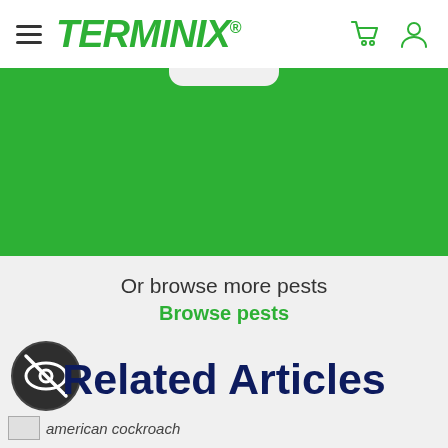TERMINIX
[Figure (screenshot): Green banner/hero section of Terminix website with a small white tab at top center]
Or browse more pests
Browse pests
[Figure (illustration): Dark circular icon with a crossed-out eye symbol (accessibility/hide icon)]
Related Articles
american cockroach